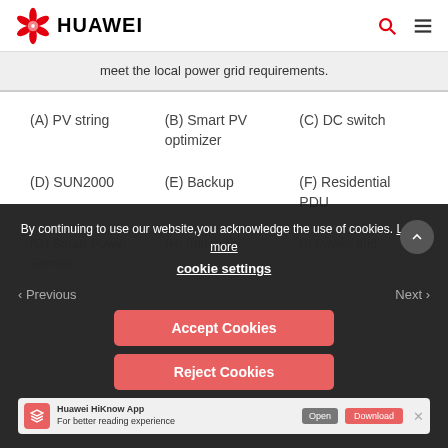HUAWEI
meet the local power grid requirements.
(A) PV string
(B) Smart PV optimizer
(C) DC switch
(D) SUN2000
(E) Backup
(F) Residential PDU
(G) Smart Power Sensor
(H) [partially hidden]
(I) Power grid
By continuing to use our website, you acknowledge the use of cookies. Learn more
cookie settings
Accept Cookies
Reject Cookies
Huawei HiKnow App — For better reading experience
Previous   Next